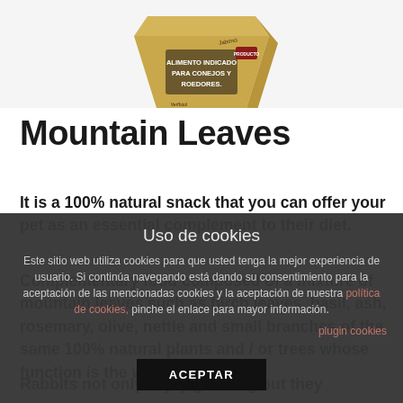[Figure (photo): Partial view of a pet food product package, golden/kraft colored box with text 'ALIMENTO INDICADO PARA CONEJOS Y ROEDORES' and branding labels, cropped at top]
Mountain Leaves
It is a 100% natural snack that you can offer your pet as an essential complement to their diet.
Complementary food composed of a mixture of mountain leaves such as birch leaves, basil, ash, rosemary, olive, nettle and small branches of the same 100% natural plants and / or trees whose function is the wear of the teeth.
Rabbits not only enjoy gnawing but they absolutely
Uso de cookies
Este sitio web utiliza cookies para que usted tenga la mejor experiencia de usuario. Si continúa navegando está dando su consentimiento para la aceptación de las mencionadas cookies y la aceptación de nuestra política de cookies, pinche el enlace para mayor información.
plugin cookies
ACEPTAR